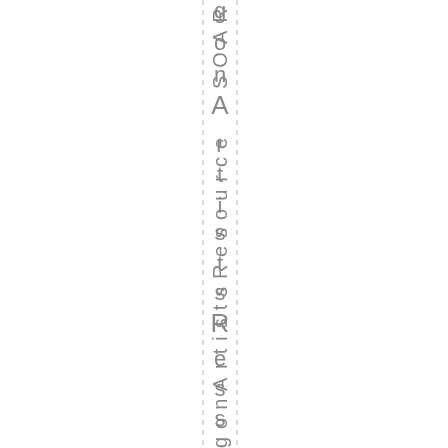gon Artists Resource SOAR and Art